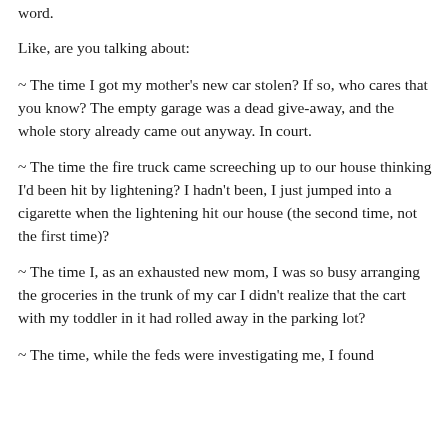word.
Like, are you talking about:
~ The time I got my mother's new car stolen? If so, who cares that you know? The empty garage was a dead give-away, and the whole story already came out anyway. In court.
~ The time the fire truck came screeching up to our house thinking I'd been hit by lightening? I hadn't been, I just jumped into a cigarette when the lightening hit our house (the second time, not the first time)?
~ The time I, as an exhausted new mom, I was so busy arranging the groceries in the trunk of my car I didn't realize that the cart with my toddler in it had rolled away in the parking lot?
~ The time, while the feds were investigating me, I found